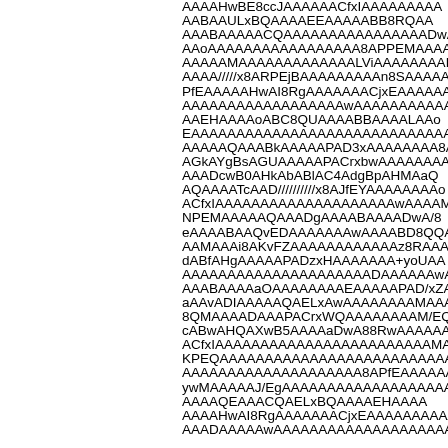AAAAHwBE8ccJAAAAAACfxIAAAAAAAAA AABAAULxBQAAAAEEAAAAABB8RQAA AAABAAAAACQAAAAAAAAAAAAAAAADwA8 AAoAAAAAAAAAAAAAAAAA8APPEMAAAAAl AAAAAMAAAAAAAAAAAAALViAAAAAAAABA AAAA/////x8ARPEjBAAAAAAAAAn8SAAAAAAA PfEAAAAAHwAI8RgAAAAAAACjxEAAAAAAAA AAAAAAAAAAAAAAAAAAwAAAAAAAAAAAAAAAA AAEHAAAAoABC8QUAAAABBAAAALAAo EAAAAAAAAAAAAAAAAAAAAAAAAAAAAAAAAfA AAAAAQAAABkAAAAAPAD3xAAAAAAAA8AM AGkAYgBsAGUAAAAAPACrxbwAAAAAAAAAMA AAADcwB0AHkAbABlAC4AdgBpAHMAaQ AQAAAATcAAD//////////x8AJfEYAAAAAAAAo ACfxIAAAAAAAAAAAAAAAAAAAAwAAAAMAAA NPEMAAAAAQAAADgAAAABAAAADwA/8 eAAAABAAQvEDAAAAAAAwAAAABD8QQA AAMAAAi8AKvFZAAAAAAAAAAAAz8RAAAAAFA dABfAHgAAAAAPADzxHAAAAAAA+yoUAA AAAAAAAAAAAAAAAAAAAAADAAAAAAwAAAAAAAA AAABAAAAaOAAAAAAAAEAAAAAPAD/xZAAAA aAAvADIAAAAAQAELxAwAAAAAAAAMAAAAAAAAQ 8QMAAAADAAAPACrxWQAAAAAAAAM/EQ cABwAHQAXwB5AAAAaDwA88RwAAAAAAAA ACfxIAAAAAAAAAAAAAAAAAAAAAAAAMAA KPEQAAAAAAAAAAAAAAAAAAAAAAAAAAAAx8A AAAAAAAAAAAAAAAAAAAA8APfEAAAAAAAAH ywMAAAAAJ/EgAAAAAAAAAAAAAAAAAAAAAAAA AAAAQEAAACQAELxBQAAAAEHAAAA AAAAHwAI8RgAAAAAAACjxEAAAAAAAAAAAA AAADAAAAAwAAAAAAAAAAAAAAAAAAAAQA